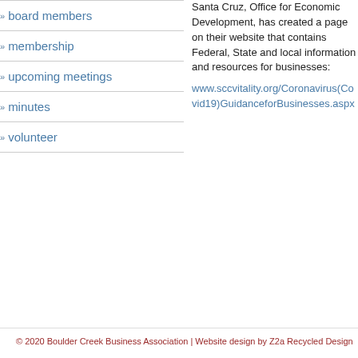board members
membership
upcoming meetings
minutes
volunteer
Santa Cruz, Office for Economic Development, has created a page on their website that contains Federal, State and local information and resources for businesses:
www.sccvitality.org/Coronavirus(Covid19)GuidanceforBusinesses.aspx
© 2020 Boulder Creek Business Association | Website design by Z2a Recycled Design